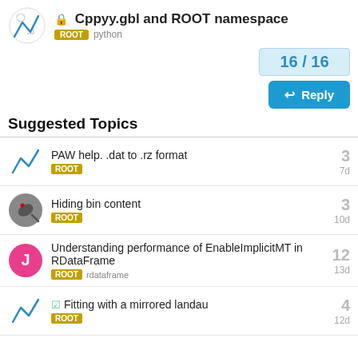Cppyy.gbl and ROOT namespace — ROOT python
16 / 16
Reply
Suggested Topics
PAW help. .dat to .rz format — ROOT — 3 replies — 7d
Hiding bin content — ROOT — 3 replies — 10d
Understanding performance of EnableImplicitMT in RDataFrame — ROOT rdataframe — 12 replies — 13d
Fitting with a mirrored landau — ROOT — 4 replies — 12d